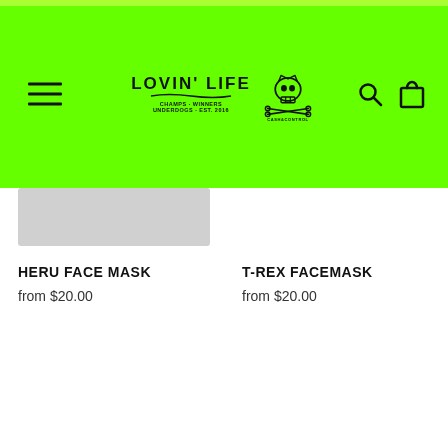[Figure (logo): Lovin' Life x Cash&Control brand logo on bright green navigation header bar with hamburger menu, search icon, and shopping bag icon]
HERU FACE MASK
from $20.00
T-REX FACEMASK
from $20.00